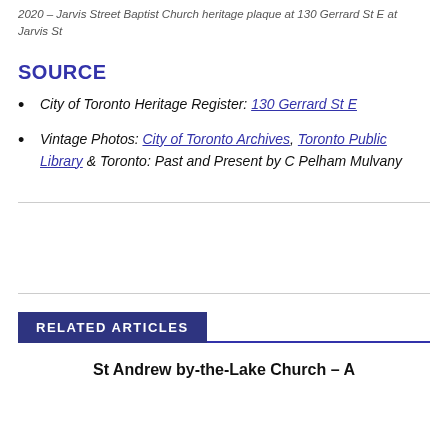2020 – Jarvis Street Baptist Church heritage plaque at 130 Gerrard St E at Jarvis St
SOURCE
City of Toronto Heritage Register: 130 Gerrard St E
Vintage Photos: City of Toronto Archives, Toronto Public Library & Toronto: Past and Present by C Pelham Mulvany
RELATED ARTICLES
St Andrew by-the-Lake Church – A